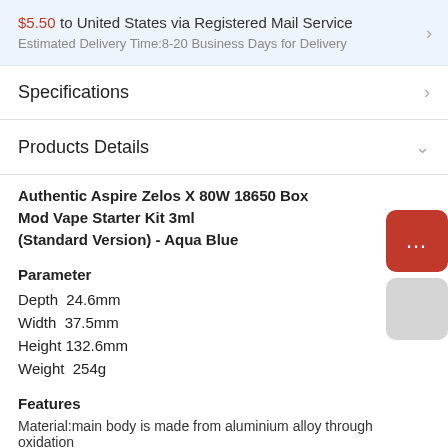$5.50 to United States via Registered Mail Service
Estimated Delivery Time:8-20 Business Days for Delivery
Specifications
Products Details
Authentic Aspire Zelos X 80W 18650 Box Mod Vape Starter Kit 3ml (Standard Version) - Aqua Blue
Parameter
Depth  24.6mm
Width  37.5mm
Height 132.6mm
Weight  254g
Features
Material:main body is made from aluminium alloy through oxidation